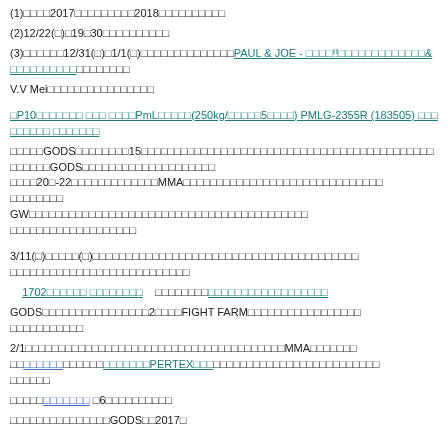(1)□□□□2017□□□□□□□□□□□2018□□□□□□□□□□
(2)12/22(□)□19□30□□□□□□□□□□
(3)□□□□□□□12/31(□)□1/1(□)□□□□□□□□□□□□□□PAUL & JOE - □□□□!!□□□□□□□□□□□□□&□□□□□□□□□□□□□□□□□□□
V.V Mei□□□□□□□□□□□□□□□□□□
□P10□□□□□□□□ □□□ □□□□PmL□□□□□(250kg/□□□□□5□□□□) PMLG-2355R (183505) □□□□□□□□□ □□□□□□□□
□□□□□GODS□□□□□□□□□15□□□□□□□□□□□□□□□□□□□□□□□□□□□□□□□□□□□□□□□□□□□□□□□□□□□GODS□□□□□□□□□□□□□□□□□□□□□□20□-22□□□□□□□□□□□□□□□□MMA□□□□□□□□□□□□□□□□□□□□□□□□□□□□□□GW□□□□□□□□□□□□□□□□□□□□□□□□□□□□□□□□□□□□□□□□□□□□□□□□□□□□□□□□□□
3/11(□)□□□□□(□)□□□□□□□□□□□□□□□□□□□□□□□□□□□□□□□□□□□□□□□□□□□□□□□□□□□
1702□□□□□□ □□□□□□□□　 □□□□□□□□□□□□□□□□□□□□□□□□□□□□
GODS□□□□□□□□□□□□□□□□□2□□□□FIGHT FARM□□□□□□□□□□□□□□□□□□□□□□□□□□□
2/1□□□□□□□□□□□□□□□□□□□□□□□□□□□□□□□□□□□□□□□MMA□□□□□□□□□□□□□□□□□□□PERTEX□□□□□□□□□□□□□□□□□□□□□□□□□□□
□□□□□□□□□□□□ □6□□□□□□□□□□□
□□□□□□□□□□□□□□□GODS□□□2017□